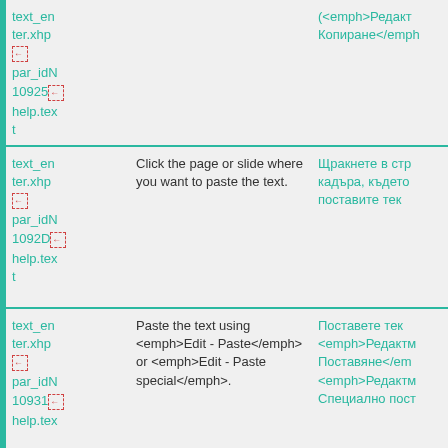| col1 | col2 | col3 |
| --- | --- | --- |
| text_enter.xhp [icon] par_idN 10925 [icon] help.text |  | (<emph>Редакт... Копиране</emph... |
| text_enter.xhp [icon] par_idN 1092D [icon] help.text | Click the page or slide where you want to paste the text. | Щракнете в стр кадъра, където поставите тек |
| text_enter.xhp [icon] par_idN 10931 [icon] help.tex | Paste the text using <emph>Edit - Paste</emph> or <emph>Edit - Paste special</emph>. | Поставете тек <emph>Редакти Поставяне</em... <emph>Редакти Специално пост |